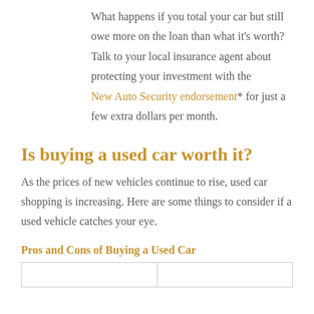What happens if you total your car but still owe more on the loan than what it's worth? Talk to your local insurance agent about protecting your investment with the New Auto Security endorsement* for just a few extra dollars per month.
Is buying a used car worth it?
As the prices of new vehicles continue to rise, used car shopping is increasing. Here are some things to consider if a used vehicle catches your eye.
Pros and Cons of Buying a Used Car
|  |  |